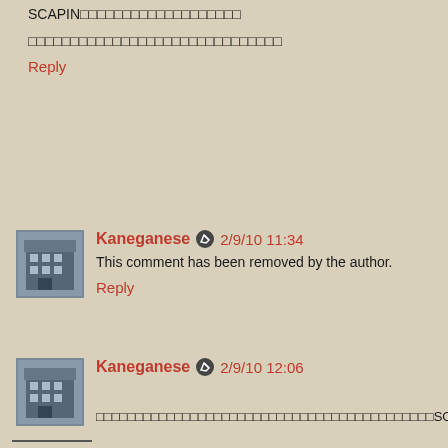SCAPIN□□□□□□□□□□□□□□□□□□□
□□□□□□□□□□□□□□□□□□□□□□□□□□□□□□
Reply
Kaneganese 2/9/10 11:34
This comment has been removed by the author.
Reply
Kaneganese 2/9/10 12:06
□□□□□□□□□□□□□□□□□□□□□□□□□□□□□□□□□□□□□□□□□□□SCAPIN677□□□□□□□□□□□□□□□□□□□□□□□□□□□□□□□□□□□□□□□□□□□□□□□□□□□□□□□□□□□□□□□□□□□□□□□□□□□□□□□□□□□□□□□□□□□□□□□□□□□□□□□□□□
chaamiey□□□□□□□□
Reply